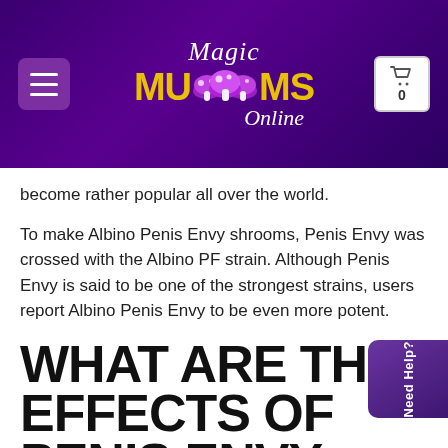[Figure (screenshot): Magic Mushrooms Online website header with purple gradient background, hamburger menu button on left, logo in center, cart icon with 0 on right]
become rather popular all over the world.
To make Albino Penis Envy shrooms, Penis Envy was crossed with the Albino PF strain. Although Penis Envy is said to be one of the strongest strains, users report Albino Penis Envy to be even more potent.
WHAT ARE THE EFFECTS OF PENIS ENVY MUSHROOMS?
Penis Envy mushrooms are very potent and result in intense effects. When taken in doses larger than 2